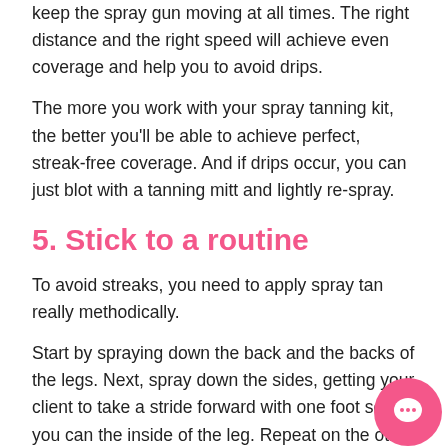keep the spray gun moving at all times. The right distance and the right speed will achieve even coverage and help you to avoid drips.
The more you work with your spray tanning kit, the better you'll be able to achieve perfect, streak-free coverage. And if drips occur, you can just blot with a tanning mitt and lightly re-spray.
5. Stick to a routine
To avoid streaks, you need to apply spray tan really methodically.
Start by spraying down the back and the backs of the legs. Next, spray down the sides, getting your client to take a stride forward with one foot so you can the inside of the leg. Repeat on the other side.
[Figure (illustration): Pink circular chat bubble icon in the bottom right corner]